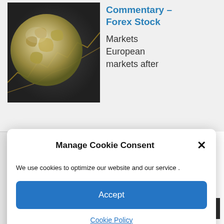[Figure (photo): Globe with financial chart background image]
Commentary – Forex Stock
Markets European markets after
China lockdowns
Washington: The International Monetary Fund slashed its world growth forecast by
Manage Cookie Consent
We use cookies to optimize our website and our service .
Accept
Cookie Policy